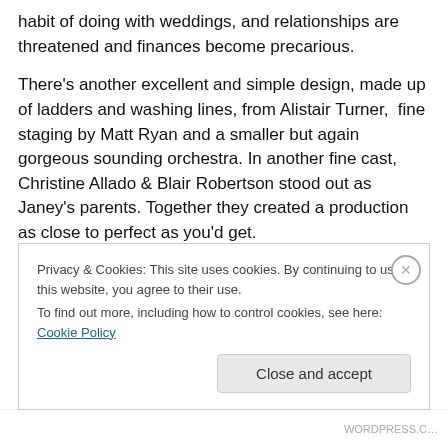habit of doing with weddings, and relationships are threatened and finances become precarious.
There's another excellent and simple design, made up of ladders and washing lines, from Alistair Turner,  fine staging by Matt Ryan and a smaller but again gorgeous sounding orchestra. In another fine cast, Christine Allado & Blair Robertson stood out as Janey's parents. Together they created a production as close to perfect as you'd get.
The future of musical theatre is clearly safe in the hands of RAM
Privacy & Cookies: This site uses cookies. By continuing to use this website, you agree to their use.
To find out more, including how to control cookies, see here: Cookie Policy
Close and accept